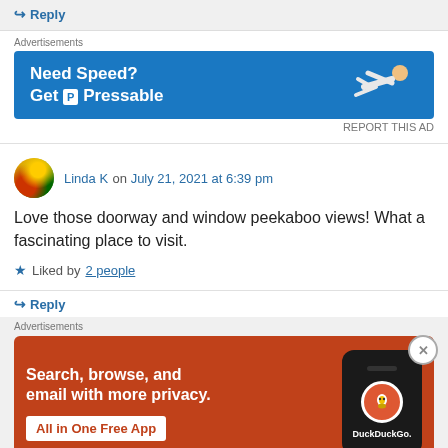↪ Reply
Advertisements
[Figure (illustration): Blue advertisement banner for Pressable hosting: 'Need Speed? Get P Pressable' with a person flying horizontally on the right side]
REPORT THIS AD
Linda K on July 21, 2021 at 6:39 pm
Love those doorway and window peekaboo views! What a fascinating place to visit.
★ Liked by 2 people
↪ Reply
Advertisements
[Figure (illustration): Orange DuckDuckGo advertisement: 'Search, browse, and email with more privacy. All in One Free App' with a phone showing DuckDuckGo logo on the right]